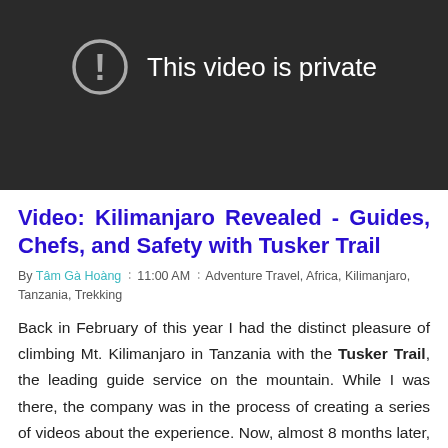[Figure (screenshot): Dark video player showing 'This video is private' message with an exclamation mark icon in a circle on a dark gray/black background.]
Video: Kilimanjaro Revealed - Guides, Chefs, and Safety with Tusker Trail
By Tâm Gà Hoàng ∶ 11:00 AM ∶ Adventure Travel, Africa, Kilimanjaro, Tanzania, Trekking
Back in February of this year I had the distinct pleasure of climbing Mt. Kilimanjaro in Tanzania with the Tusker Trail, the leading guide service on the mountain. While I was there, the company was in the process of creating a series of videos about the experience. Now, almost 8 months later, those videos